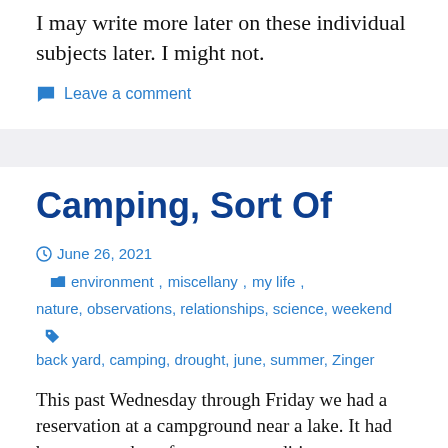I may write more later on these individual subjects later. I might not.
Leave a comment
Camping, Sort Of
June 26, 2021  environment, miscellany, my life, nature, observations, relationships, science, weekend  back yard, camping, drought, june, summer, Zinger
This past Wednesday through Friday we had a reservation at a campground near a lake. It had been somewhat of a summer tradition, at one...